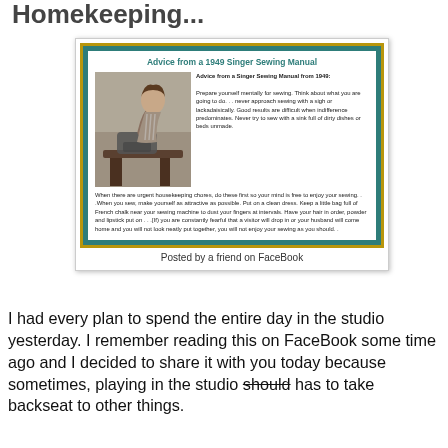Homekeeping...
[Figure (screenshot): Screenshot of a shared image showing 'Advice from a 1949 Singer Sewing Manual' with a vintage black-and-white photo of a woman at a sewing machine and text of the advice, captioned 'Posted by a friend on FaceBook']
I had every plan to spend the entire day in the studio yesterday. I remember reading this on FaceBook some time ago and I decided to share it with you today because sometimes, playing in the studio should has to take backseat to other things.